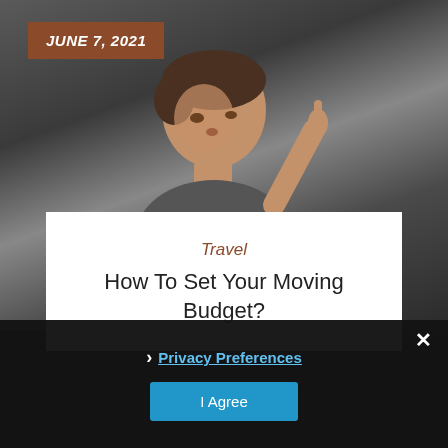[Figure (photo): Man looking upward with finger raised, against a dark chalkboard background]
JUNE 7, 2021
Travel
How To Set Your Moving Budget?
Privacy Preferences
I Agree